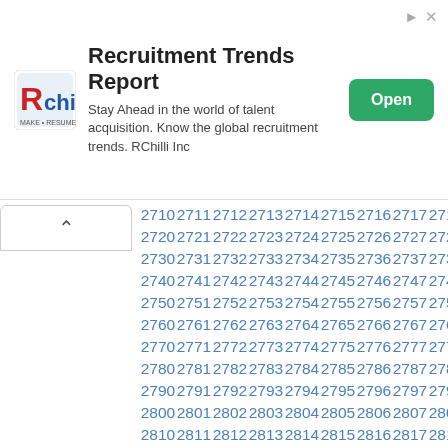[Figure (infographic): RChilli recruitment trends report advertisement banner with logo, description text, and Open button]
2710 2711 2712 2713 2714 2715 2716 2717 2718 2719
2720 2721 2722 2723 2724 2725 2726 2727 2728 2729
2730 2731 2732 2733 2734 2735 2736 2737 2738 2739
2740 2741 2742 2743 2744 2745 2746 2747 2748 2749
2750 2751 2752 2753 2754 2755 2756 2757 2758 2759
2760 2761 2762 2763 2764 2765 2766 2767 2768 2769
2770 2771 2772 2773 2774 2775 2776 2777 2778 2779
2780 2781 2782 2783 2784 2785 2786 2787 2788 2789
2790 2791 2792 2793 2794 2795 2796 2797 2798 2799
2800 2801 2802 2803 2804 2805 2806 2807 2808 2809
2810 2811 2812 2813 2814 2815 2816 2817 2818 2819
2820 2821 2822 2823 2824 2825 2826 2827 2828 2829
2830 2831 2832 2833 2834 2835 2836 2837 2838 2839
2840 2841 2842 2843 2844 2845 2846 2847 2848 2849
2850 2851 2852 2853 2854 2855 2856 2857 2858 2859
2860 2861 2862 2863 2864 2865 2866 2867 2868 2869
2870 2871 2872 2873 2874 2875 2876 2877 2878 2879